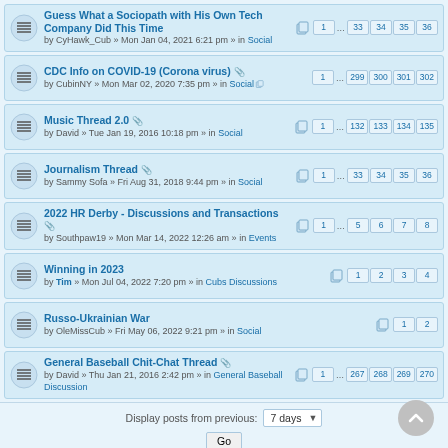Guess What a Sociopath with His Own Tech Company Did This Time — by CyHawk_Cub » Mon Jan 04, 2021 6:21 pm » in Social — pages: 1 ... 33 34 35 36
CDC Info on COVID-19 (Corona virus) — by CubinNY » Mon Mar 02, 2020 7:35 pm » in Social — pages: 1 ... 299 300 301 302
Music Thread 2.0 — by David » Tue Jan 19, 2016 10:18 pm » in Social — pages: 1 ... 132 133 134 135
Journalism Thread — by Sammy Sofa » Fri Aug 31, 2018 9:44 pm » in Social — pages: 1 ... 33 34 35 36
2022 HR Derby - Discussions and Transactions — by Southpaw19 » Mon Mar 14, 2022 12:26 am » in Events — pages: 1 ... 5 6 7 8
Winning in 2023 — by Tim » Mon Jul 04, 2022 7:20 pm » in Cubs Discussions — pages: 1 2 3 4
Russo-Ukrainian War — by OleMissCub » Fri May 06, 2022 9:21 pm » in Social — pages: 1 2
General Baseball Chit-Chat Thread — by David » Thu Jan 21, 2016 2:42 pm » in General Baseball Discussion — pages: 1 ... 267 268 269 270
Display posts from previous: 7 days
Go
Search found 48 matches — pages: 1 2 >